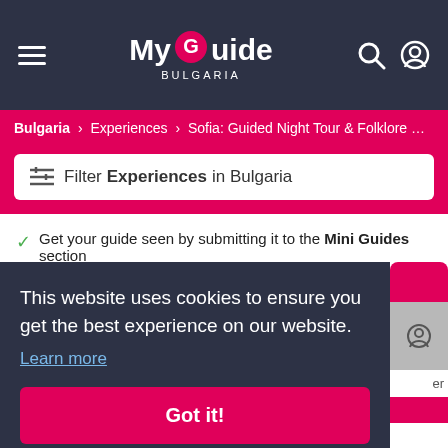My Guide Bulgaria
Bulgaria > Experiences > Sofia: Guided Night Tour & Folklore Pe...
Filter Experiences in Bulgaria
Get your guide seen by submitting it to the Mini Guides section
This website uses cookies to ensure you get the best experience on our website. Learn more
Got it!